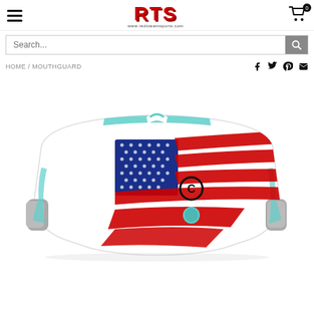RTS www.redsteamsports.com — navigation header with hamburger menu and cart icon (0 items)
Search...
HOME / MOUTHGUARD
[Figure (photo): White sports mouthguard with American flag design and blue accent, featuring stylized eagle/shield logo in red, white, and blue.]